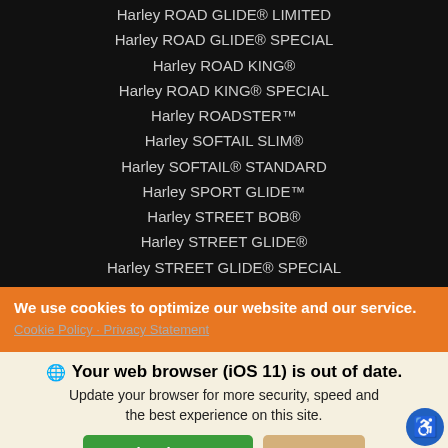Harley ROAD GLIDE® LIMITED
Harley ROAD GLIDE® SPECIAL
Harley ROAD KING®
Harley ROAD KING® SPECIAL
Harley ROADSTER™
Harley SOFTAIL SLIM®
Harley SOFTAIL® STANDARD
Harley SPORT GLIDE™
Harley STREET BOB®
Harley STREET GLIDE®
Harley STREET GLIDE® SPECIAL
Harley STREET ROD®
Harley STREET® 500
Harley STREET® 750
Harley TRI GLIDE® ULTRA
We use cookies to optimize our website and our service.
Cookie Policy  ·  Privacy Statement
🌐 Your web browser (iOS 11) is out of date. Update your browser for more security, speed and the best experience on this site.
Update browser | Ignore